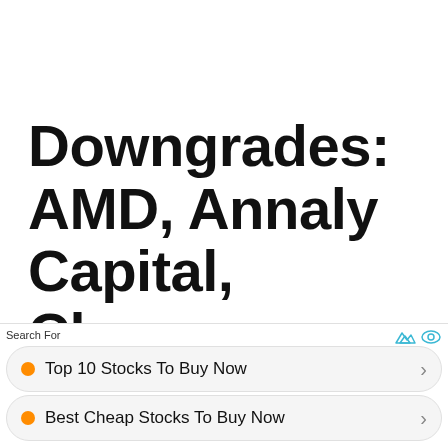Downgrades: AMD, Annaly Capital, Clorox, Constellation Energy, Li Auto, Penn National Gaming, Teladoc, Transocean and More
Top 10 Stocks To Buy Now
Best Cheap Stocks To Buy Now